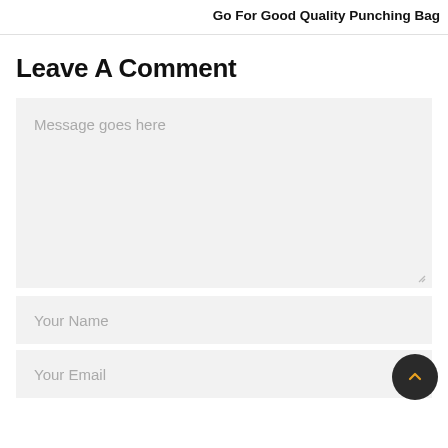Go For Good Quality Punching Bag
Leave A Comment
Message goes here
Your Name
Your Email